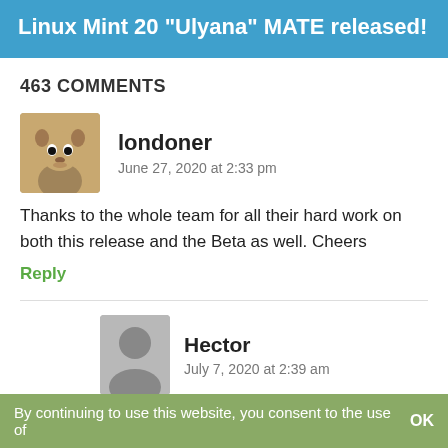Linux Mint 20 "Ulyana" MATE released!
463 COMMENTS
londoner
June 27, 2020 at 2:33 pm
Thanks to the whole team for all their hard work on both this release and the Beta as well. Cheers
Reply
Hector
July 7, 2020 at 2:39 am
Hola tengo problemas con el grup ya
By continuing to use this website, you consent to the use of   OK